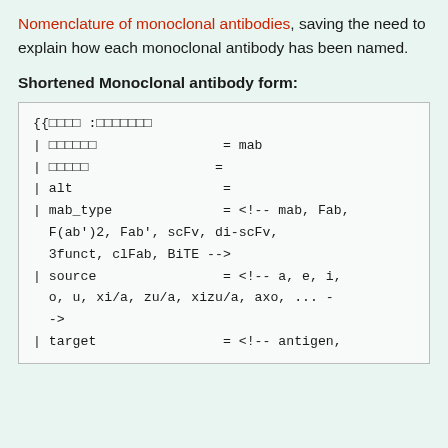Nomenclature of monoclonal antibodies, saving the need to explain how each monoclonal antibody has been named.
Shortened Monoclonal antibody form:
[Figure (screenshot): Code block showing a wiki template for monoclonal antibody shorthand form with fields: mab_type (options: mab, Fab, F(ab')2, Fab', scFv, di-scFv, 3funct, clFab, BiTE), source (options: a, e, i, o, u, xi/a, zu/a, xizu/a, axo, ...), target (antigen,...)]